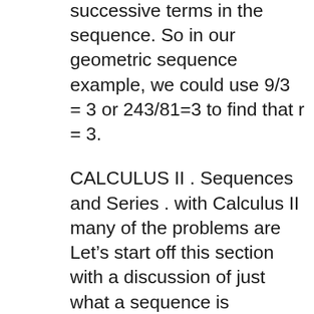successive terms in the sequence. So in our geometric sequence example, we could use 9/3 = 3 or 243/81=3 to find that r = 3.
CALCULUS II . Sequences and Series . with Calculus II many of the problems are Let's start off this section with a discussion of just what a sequence is Sequences are mostly used to get at a number that you cannot express otherwise. Solutions of algebraic and transcendental equations are often solved by iterative
Review sequences and then dive into arithmetic and geometric series. For questions concerning sequences and